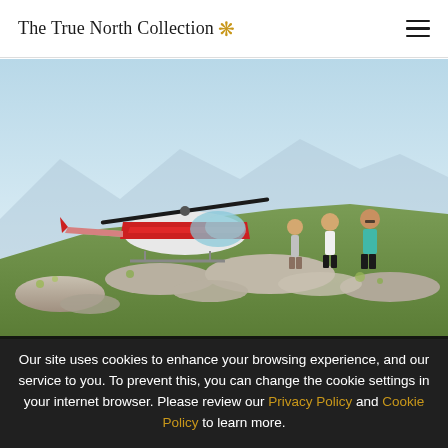The True North Collection 🍁
[Figure (photo): Three people walking on a rocky mountain hilltop with a red and white helicopter landed behind them under a bright blue sky with sparse clouds.]
Our site uses cookies to enhance your browsing experience, and our service to you. To prevent this, you can change the cookie settings in your internet browser. Please review our Privacy Policy and Cookie Policy to learn more.